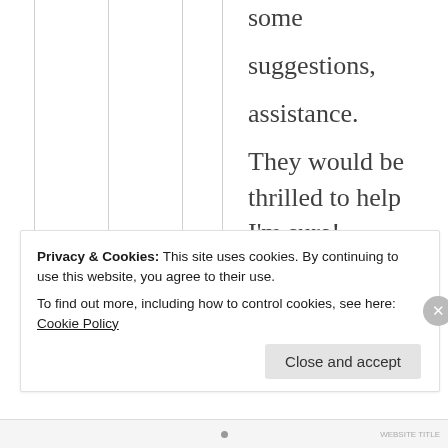some suggestions, assistance. They would be thrilled to help I'm sure!
Liked by 6 people
Reply
Privacy & Cookies: This site uses cookies. By continuing to use this website, you agree to their use. To find out more, including how to control cookies, see here: Cookie Policy